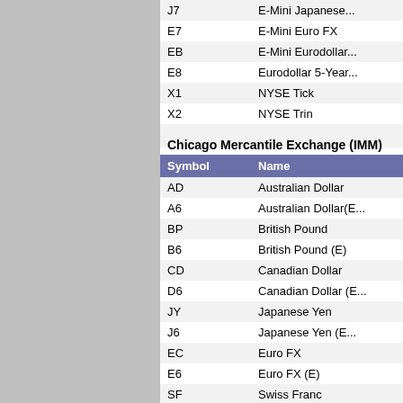| Symbol | Name |
| --- | --- |
| J7 | E-Mini Japanese... |
| E7 | E-Mini Euro FX |
| EB | E-Mini Eurodollar... |
| E8 | Eurodollar 5-Year... |
| X1 | NYSE Tick |
| X2 | NYSE Trin |
|  |  |
Chicago Mercantile Exchange (IMM)
| Symbol | Name |
| --- | --- |
| AD | Australian Dollar |
| A6 | Australian Dollar(E...) |
| BP | British Pound |
| B6 | British Pound (E) |
| CD | Canadian Dollar |
| D6 | Canadian Dollar (E...) |
| JY | Japanese Yen |
| J6 | Japanese Yen (E...) |
| EC | Euro FX |
| E6 | Euro FX (E) |
| SF | Swiss Franc |
| S6 | Swiss Franc (E) |
| MQ | Mexican Peso |
| M6 | Mexican Peso (El...) |